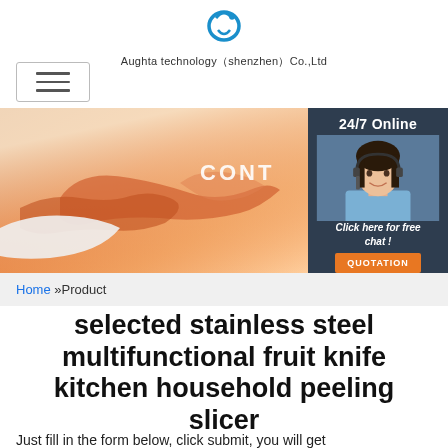[Figure (logo): Augbta technology logo — blue circular swoosh icon above company name]
Aughta technology（shenzhen）Co.,Ltd
[Figure (other): Hamburger navigation menu icon — three horizontal lines in a bordered box]
[Figure (photo): Banner photo of two people shaking hands with warm sunlight, with text 'CONT' visible and a 24/7 online chat widget showing a female customer service agent with headset]
Click here for free chat !
QUOTATION
Home »Product
selected stainless steel multifunctional fruit knife kitchen household peeling slicer
Just fill in the form below, click submit, you will get